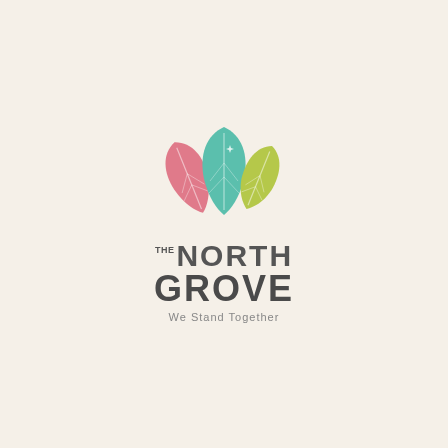[Figure (logo): The North Grove logo: three leaf shapes (pink, teal/green, yellow-green) arranged in a fan above the text 'THE NORTH GROVE' with tagline 'We Stand Together']